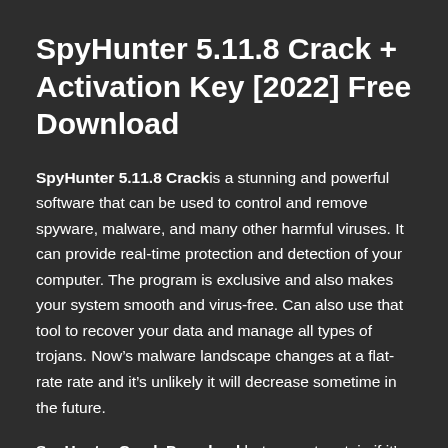SpyHunter 5.11.8 Crack + Activation Key [2022] Free Download
SpyHunter 5.11.8 Crack is a stunning and powerful software that can be used to control and remove spyware, malware, and many other harmful viruses. It can provide real-time protection and detection of your computer. The program is exclusive and also makes your system smooth and virus-free. Can also use that tool to recover your data and manage all types of trojans. Now’s malware landscape changes at a flat-rate rate and it’s unlikely it will decrease sometime in the future.
SpyHunter Crack Download but are not certain if it’s authentic, secure, or reliable. And I really don’t blame them